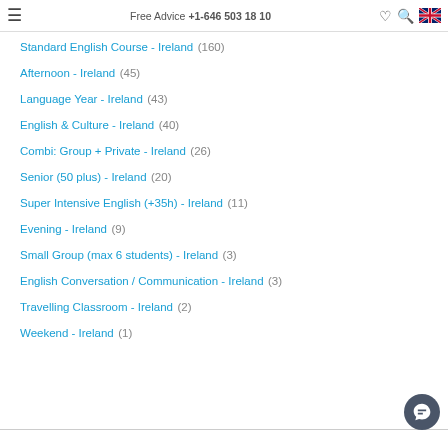Free Advice +1-646 503 18 10
Standard English Course - Ireland (160)
Afternoon - Ireland (45)
Language Year - Ireland (43)
English & Culture - Ireland (40)
Combi: Group + Private - Ireland (26)
Senior (50 plus) - Ireland (20)
Super Intensive English (+35h) - Ireland (11)
Evening - Ireland (9)
Small Group (max 6 students) - Ireland (3)
English Conversation / Communication - Ireland (3)
Travelling Classroom - Ireland (2)
Weekend - Ireland (1)